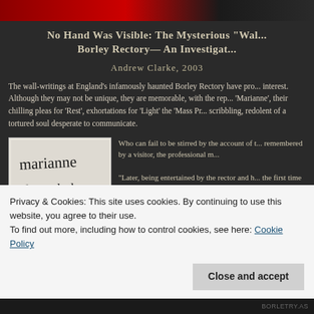[Figure (photo): Top banner image showing red and dark tones, partial photograph]
No Hand Was Visible: The Mysterious "Wal... Borley Rectory— An Investigat...
Andrew Clarke, 2003
The wall-writings at England's infamously haunted Borley Rectory have pro... interest. Although they may not be unique, they are memorable, with the rep... 'Marianne', their chilling pleas for 'Rest', exhortations for 'Light' the 'Mass Pr... scribbling, redolent of a tortured soul desperate to communicate.
[Figure (photo): Photograph of handwritten wall-writing reading 'marianne Please help get']
Who can fail to be stirred by the account of t... remembered by a visitor, the professional m...
“Later, being entertained by the rector and h... the first time of mysterious forms, male and ... inside and outside the house; of lights in un...
Privacy & Cookies: This site uses cookies. By continuing to use this website, you agree to their use.
To find out more, including how to control cookies, see here: Cookie Policy
Close and accept
BORLETRY.AS